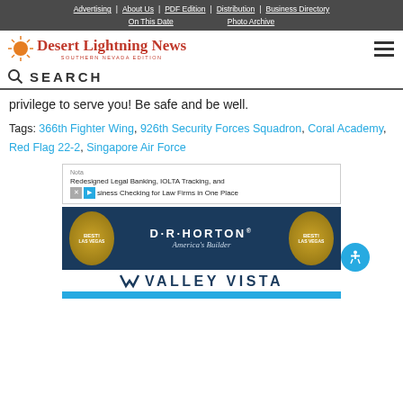Advertising | About Us | PDF Edition | Distribution | Business Directory | On This Date | Photo Archive
[Figure (logo): Desert Lightning News logo with sun graphic and 'Southern Nevada Edition' subtitle]
SEARCH
privilege to serve you! Be safe and be well.
Tags: 366th Fighter Wing, 926th Security Forces Squadron, Coral Academy, Red Flag 22-2, Singapore Air Force
[Figure (screenshot): Nota ad: Redesigned Legal Banking, IOLTA Tracking, and Business Checking for Law Firms in One Place]
[Figure (photo): D.R. Horton America's Builder advertisement with Best Las Vegas badges and Valley Vista development name]